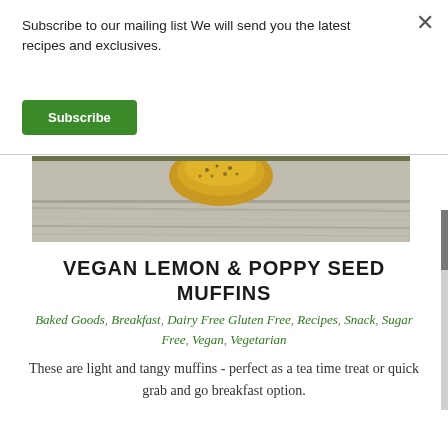Subscribe to our mailing list We will send you the latest recipes and exclusives.
Subscribe
[Figure (photo): Photo of vegan lemon and poppy seed muffin on a wooden surface, showing the golden-brown top of the muffin against a grey-toned wooden board background.]
VEGAN LEMON & POPPY SEED MUFFINS
Baked Goods, Breakfast, Dairy Free, Gluten Free, Recipes, Snack, Sugar Free, Vegan, Vegetarian
These are light and tangy muffins - perfect as a tea time treat or quick grab and go breakfast option.